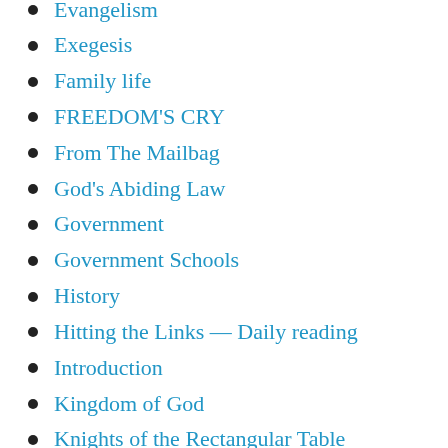Evangelism
Exegesis
Family life
FREEDOM'S CRY
From The Mailbag
God's Abiding Law
Government
Government Schools
History
Hitting the Links — Daily reading
Introduction
Kingdom of God
Knights of the Rectangular Table
Law – Juridicial
Marxism/Cultural Marxism
On This Day
Other Opposing Worldview